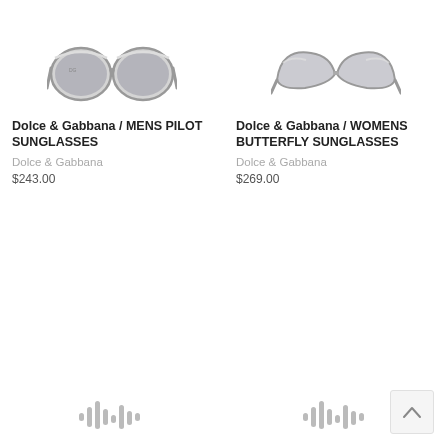[Figure (photo): Dolce & Gabbana mens pilot sunglasses product image - grey aviator style]
[Figure (photo): Dolce & Gabbana womens butterfly sunglasses product image - grey butterfly style]
Dolce & Gabbana / MENS PILOT SUNGLASSES
Dolce & Gabbana
$243.00
[Figure (other): Audio waveform / barcode icon]
Dolce & Gabbana / WOMENS BUTTERFLY SUNGLASSES
Dolce & Gabbana
$269.00
[Figure (other): Audio waveform / barcode icon]
[Figure (other): Back to top arrow button]